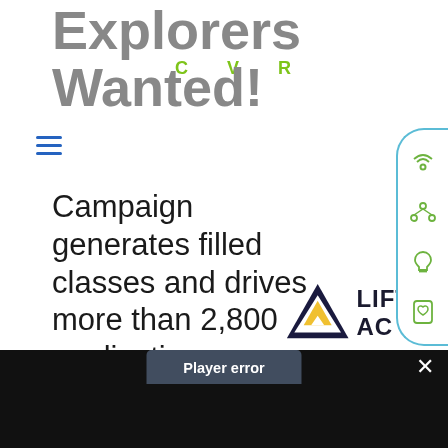Explorers Wanted!
[Figure (logo): CVR logo text in green, bold, letter-spaced]
Campaign generates filled classes and drives more than 2,800 applications
[Figure (logo): LIFT AC logo with mountain triangle icon in navy and yellow]
[Figure (infographic): Right sidebar panel with green outline icons: signal/wifi, network/people, lightbulb, heart/badge]
[Figure (screenshot): Dark bottom section with video player error overlay showing 'Player error' text and X close button]